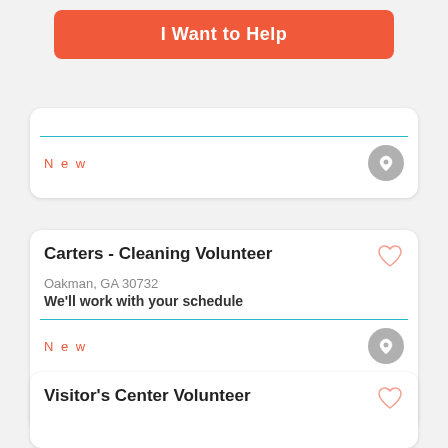I Want to Help
New
Carters - Cleaning Volunteer
Oakman, GA 30732
We'll work with your schedule
New
Visitor's Center Volunteer